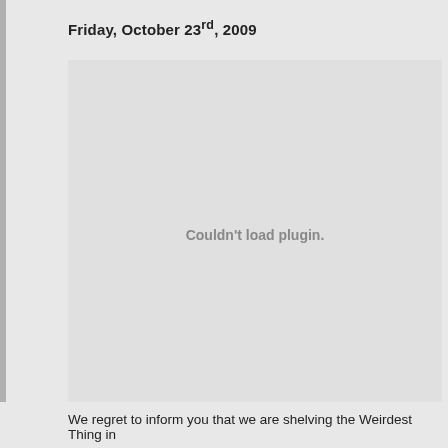Friday, October 23rd, 2009
[Figure (other): Embedded plugin area showing 'Couldn't load plugin.' error message on a light gray background]
We regret to inform you that we are shelving the Weirdest Thing in